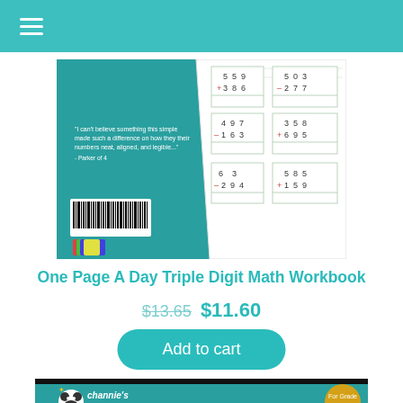Navigation menu icon
[Figure (photo): Back cover of 'One Page A Day Triple Digit Math Workbook' showing math problem grids with addition and subtraction exercises, teal/green design with barcode]
One Page A Day Triple Digit Math Workbook
$13.65  $11.60
Add to cart
[Figure (photo): Channie's Quick & Neat Writing Pad product image with teal background, panda logo, grade 1-3 badge, and writing samples showing 'Dog']